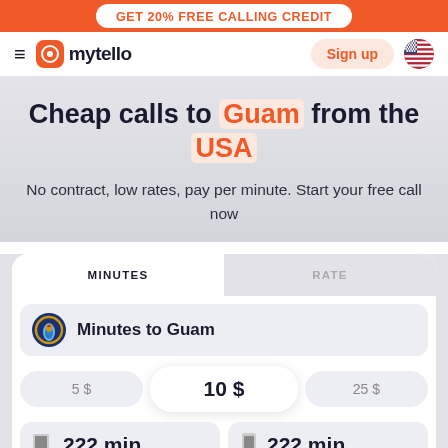GET 20% FREE CALLING CREDIT
[Figure (logo): mytello logo with hamburger menu, sign up button, and US flag]
Cheap calls to Guam from the USA
No contract, low rates, pay per minute. Start your free call now
| MINUTES | RATE |
| --- | --- |
Minutes to Guam
5 $   10 $   25 $
222 min   222 min